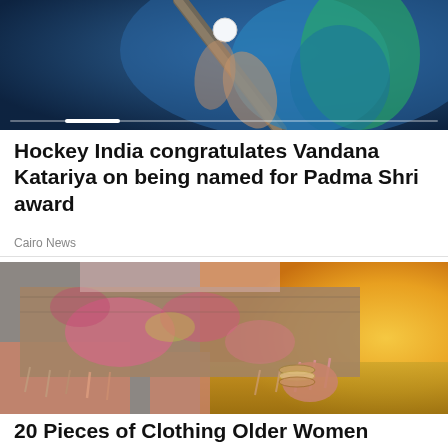[Figure (photo): Hockey player in blue and green jersey swinging a hockey stick, dark blue background with a white ball visible]
Hockey India congratulates Vandana Katariya on being named for Padma Shri award
Cairo News
[Figure (photo): Close-up of a person wearing ripped denim cut-off shorts splattered with colorful powder paint, bracelets on wrist, warm golden field background at sunset]
20 Pieces of Clothing Older Women should Avoid